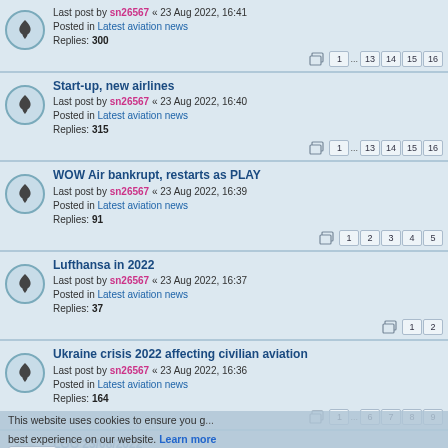Last post by sn26567 « 23 Aug 2022, 16:41
Posted in Latest aviation news
Replies: 300
Pages: 1 ... 13 14 15 16
Start-up, new airlines
Last post by sn26567 « 23 Aug 2022, 16:40
Posted in Latest aviation news
Replies: 315
Pages: 1 ... 13 14 15 16
WOW Air bankrupt, restarts as PLAY
Last post by sn26567 « 23 Aug 2022, 16:39
Posted in Latest aviation news
Replies: 91
Pages: 1 2 3 4 5
Lufthansa in 2022
Last post by sn26567 « 23 Aug 2022, 16:37
Posted in Latest aviation news
Replies: 37
Pages: 1 2
Ukraine crisis 2022 affecting civilian aviation
Last post by sn26567 « 23 Aug 2022, 16:36
Posted in Latest aviation news
Replies: 164
Pages: 1 ... 6 7 8 9
LGG 23/08/2022
Last post by tangolima « 23 Aug 2022, 09:48
Posted in Plane spotting - Belgium
Where will you fly in 2022?
Last post by MSS658 « 22 Aug 2022, 22:19
Posted in Airline experiences and trip reports
Replies: 58
Pages: 1 2 3
This website uses cookies to ensure you get the best experience on our website. Learn more